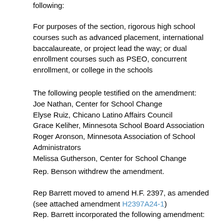following:
For purposes of the section, rigorous high school courses such as advanced placement, international baccalaureate, or project lead the way; or dual enrollment courses such as PSEO, concurrent enrollment, or college in the schools
The following people testified on the amendment:
Joe Nathan, Center for School Change
Elyse Ruiz, Chicano Latino Affairs Council
Grace Keliher, Minnesota School Board Association
Roger Aronson, Minnesota Association of School Administrators
Melissa Gutherson, Center for School Change
Rep. Benson withdrew the amendment.
Rep Barrett moved to amend H.F. 2397, as amended (see attached amendment H2397A24-1)
Rep. Barrett incorporated the following amendment: